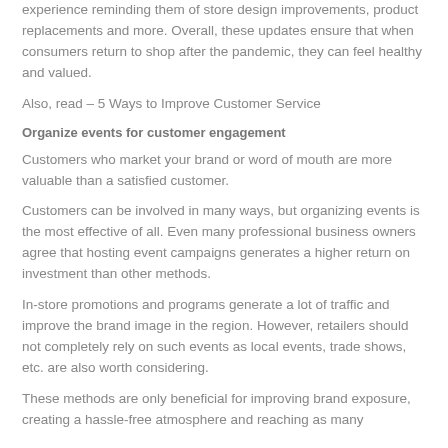experience reminding them of store design improvements, product replacements and more. Overall, these updates ensure that when consumers return to shop after the pandemic, they can feel healthy and valued.
Also, read – 5 Ways to Improve Customer Service
Organize events for customer engagement
Customers who market your brand or word of mouth are more valuable than a satisfied customer.
Customers can be involved in many ways, but organizing events is the most effective of all. Even many professional business owners agree that hosting event campaigns generates a higher return on investment than other methods.
In-store promotions and programs generate a lot of traffic and improve the brand image in the region. However, retailers should not completely rely on such events as local events, trade shows, etc. are also worth considering.
These methods are only beneficial for improving brand exposure, creating a hassle-free atmosphere and reaching as many